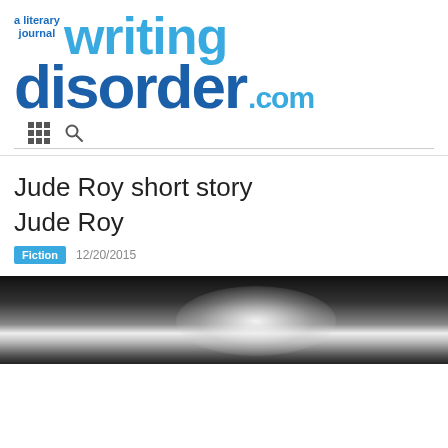[Figure (logo): Writing Disorder literary journal logo with blue text 'a literary journal writingdisorder.com']
Jude Roy short story
Jude Roy
Fiction  12/20/2015
[Figure (photo): Black and white photo of a person's head/hair from behind or top, glowing white light]